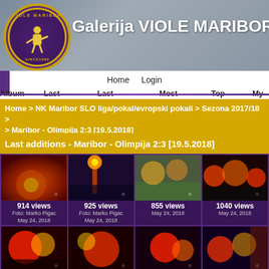[Figure (logo): Viole Maribor circular logo with gold border, 'SINCE 1989' text, purple background]
Galerija VIOLE MARIBOR
Home   Login
Album list   Last uploads   Last comments   Most viewed   Top rated   My F
Home > NK Maribor SLO liga/pokal/evropski pokali > Sezona 2017/18 > > Maribor - Olimpija 2:3 [19.5.2018]
Last additions - Maribor - Olimpija 2:3 [19.5.2018]
[Figure (photo): Flares/pyrotechnics at football match, 914 views, Foto: Marko Pigac, May 24, 2018]
[Figure (photo): Fan with flares/pyrotechnics, 925 views, Foto: Marko Pigac, May 24, 2018]
[Figure (photo): Stadium with smoke and flares, 855 views, May 24, 2018]
[Figure (photo): Stadium with flares/smoke, 1040 views, May 24, 2018]
[Figure (photo): Red flares crowd scene thumbnail row 2]
[Figure (photo): Red flares crowd scene thumbnail row 2]
[Figure (photo): Red flares crowd scene thumbnail row 2]
[Figure (photo): Red flares crowd scene thumbnail row 2]